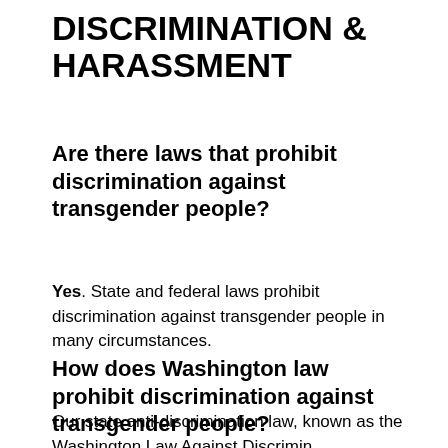DISCRIMINATION & HARASSMENT
Are there laws that prohibit discrimination against transgender people?
Yes. State and federal laws prohibit discrimination against transgender people in many circumstances.
How does Washington law prohibit discrimination against transgender people?
Our state anti-discrimination law, known as the Washington Law Against Discrimination, the...